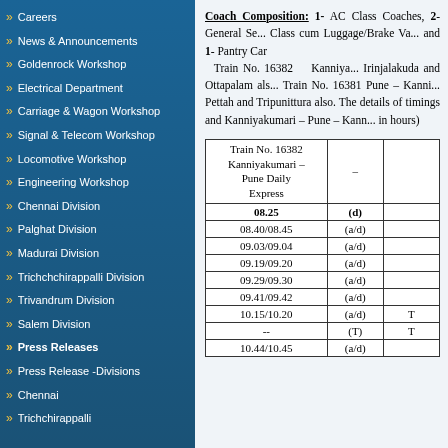Careers
News & Announcements
Goldenrock Workshop
Electrical Department
Carriage & Wagon Workshop
Signal & Telecom Workshop
Locomotive Workshop
Engineering Workshop
Chennai Division
Palghat Division
Madurai Division
Trichchchirappalli Division
Trivandrum Division
Salem Division
Press Releases
Press Release -Divisions
Chennai
Trichchirappalli
Coach Composition: 1- AC Class Coaches, 2- General Se... Class cum Luggage/Brake Va... and 1- Pantry Car Train No. 16382 Kanniya... Irinjalakuda and Ottapalam als... Train No. 16381 Pune – Kanni... Pettah and Tripunittura also. The details of timings and Kanniyakumari – Pune – Kann... in hours)
| Train No. 16382 Kanniyakumari – Pune Daily Express | – |  |
| --- | --- | --- |
| 08.25 | (d) |  |
| 08.40/08.45 | (a/d) |  |
| 09.03/09.04 | (a/d) |  |
| 09.19/09.20 | (a/d) |  |
| 09.29/09.30 | (a/d) |  |
| 09.41/09.42 | (a/d) |  |
| 10.15/10.20 | (a/d) | T |
| -- | (T) | T |
| 10.44/10.45 | (a/d) |  |